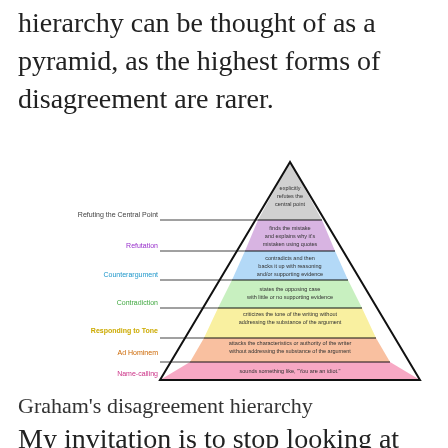hierarchy can be thought of as a pyramid, as the highest forms of disagreement are rarer.
[Figure (infographic): Graham's disagreement hierarchy pyramid showing 7 levels from bottom (Name-calling in pink) to top (Refuting the Central Point in grey). Levels from bottom to top: Name-calling (pink) - sounds something like, 'You are an idiot.'; Ad Hominem (peach/salmon) - attacks the characteristics or authority of the writer without addressing the substance of the argument; Responding to Tone (yellow) - criticizes the tone of the writing without addressing the substance of the argument; Contradiction (light green) - states the opposing case with little or no supporting evidence; Counterargument (light blue) - contradicts and then backs it up with reasoning and/or supporting evidence; Refutation (light purple) - finds the mistake and explains why it's mistaken using quotes; Refuting the Central Point (grey/white top) - explicitly refutes the central point.]
Graham's disagreement hierarchy
My invitation is to stop looking at